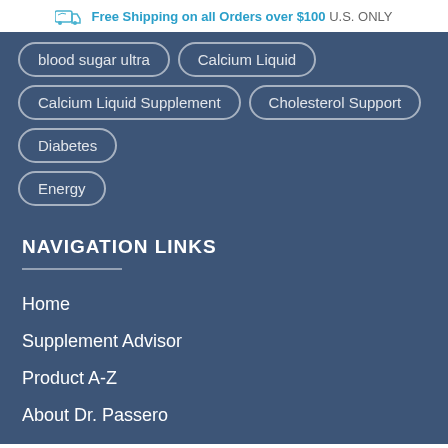Free Shipping on all Orders over $100 U.S. ONLY
blood sugar ultra
Calcium Liquid
Calcium Liquid Supplement
Cholesterol Support
Diabetes
Energy
NAVIGATION LINKS
Home
Supplement Advisor
Product A-Z
About Dr. Passero
Ask the doctor
Blog